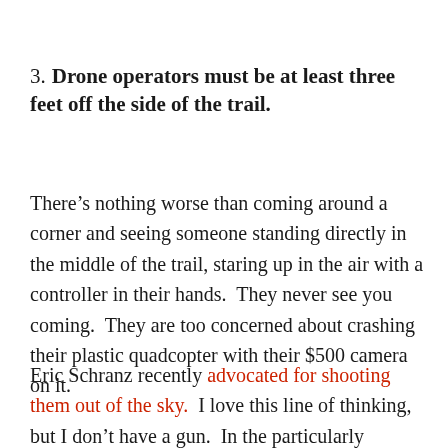3. Drone operators must be at least three feet off the side of the trail.
There’s nothing worse than coming around a corner and seeing someone standing directly in the middle of the trail, staring up in the air with a controller in their hands.  They never see you coming.  They are too concerned about crashing their plastic quadcopter with their $500 camera on it.
Eric Schranz recently advocated for shooting them out of the sky.  I love this line of thinking, but I don’t have a gun.  In the particularly egregious offenses, I like to